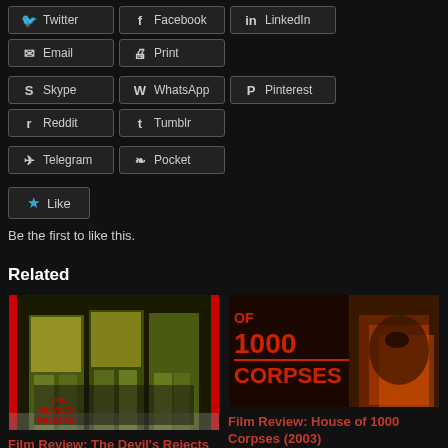Twitter
Facebook
LinkedIn
Email
Print
Skype
WhatsApp
Pinterest
Reddit
Tumblr
Telegram
Pocket
Like
Be the first to like this.
Related
[Figure (photo): Movie poster for The Devil's Rejects (2005)]
Film Review: The Devil's Rejects (2005)
April 7, 2018
[Figure (photo): Movie poster for House of 1000 Corpses (2003)]
Film Review: House of 1000 Corpses (2003)
September 28, 2017
In "Film Review"